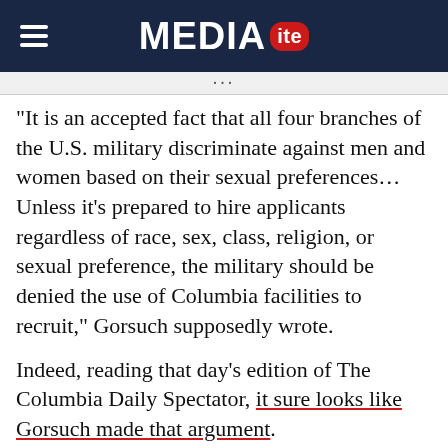MEDIAITE
“It is an accepted fact that all four branches of the U.S. military discriminate against men and women based on their sexual preferences… Unless it’s prepared to hire applicants regardless of race, sex, class, religion, or sexual preference, the military should be denied the use of Columbia facilities to recruit,” Gorsuch supposedly wrote.
Indeed, reading that day’s edition of The Columbia Daily Spectator, it sure looks like Gorsuch made that argument.
[Figure (screenshot): Newspaper clipping showing headline 'Gorsuch' continued from page six, with two columns of text about workers and bia facilities to recruit.]